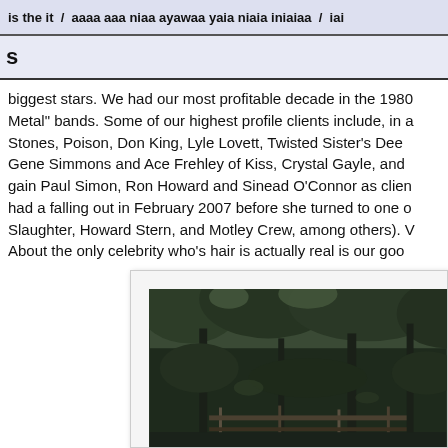is the it / aaaa aaa niaa ayawaa yaia niaia iniaiaa / iai
s
biggest stars. We had our most profitable decade in the 1980 Metal" bands. Some of our highest profile clients include, in a Stones, Poison, Don King, Lyle Lovett, Twisted Sister's Dee Gene Simmons and Ace Frehley of Kiss, Crystal Gayle, and gain Paul Simon, Ron Howard and Sinead O'Connor as clien had a falling out in February 2007 before she turned to one o Slaughter, Howard Stern, and Motley Crew, among others). V About the only celebrity who's hair is actually real is our goo
[Figure (photo): Outdoor photograph showing trees with dense foliage and what appears to be a wooden fence or structure in the foreground, in a dark/shadowy setting]